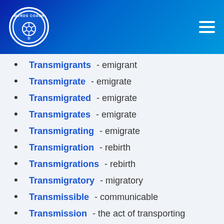Words Coach
Transmigrants - emigrant
Transmigrate - emigrate
Transmigrated - emigrate
Transmigrates - emigrate
Transmigrating - emigrate
Transmigration - rebirth
Transmigrations - rebirth
Transmigratory - migratory
Transmissible - communicable
Transmission - the act of transporting
Transmissions - the act of transporting